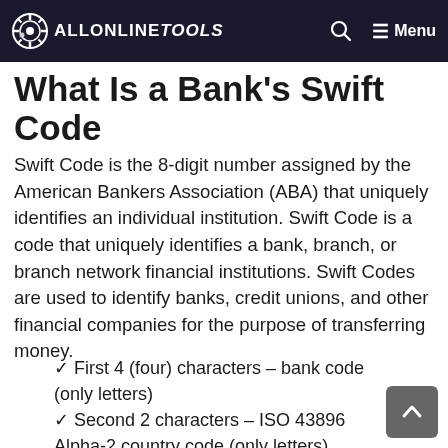ALLONLINETOOLS — Menu
What Is a Bank's Swift Code
Swift Code is the 8-digit number assigned by the American Bankers Association (ABA) that uniquely identifies an individual institution. Swift Code is a code that uniquely identifies a bank, branch, or branch network financial institutions. Swift Codes are used to identify banks, credit unions, and other financial companies for the purpose of transferring money.
✓ First 4 (four) characters – bank code (only letters)
✓ Second 2 characters – ISO 43896 Alpha-2 country code (only letters)
✓ Third 2 characters – location code